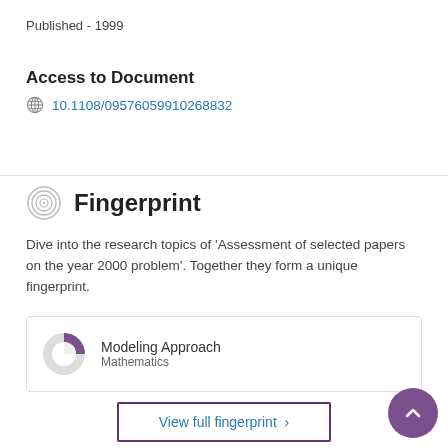Published - 1999
Access to Document
10.1108/09576059910268832
Fingerprint
Dive into the research topics of 'Assessment of selected papers on the year 2000 problem'. Together they form a unique fingerprint.
Modeling Approach
Mathematics
View full fingerprint >